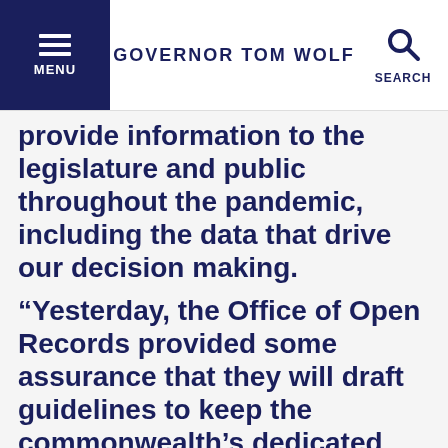GOVERNOR TOM WOLF
provide information to the legislature and public throughout the pandemic, including the data that drive our decision making.
“Yesterday, the Office of Open Records provided some assurance that they will draft guidelines to keep the commonwealth’s dedicated public servants safe. While I am still very concerned about the ill-conceived and poorly